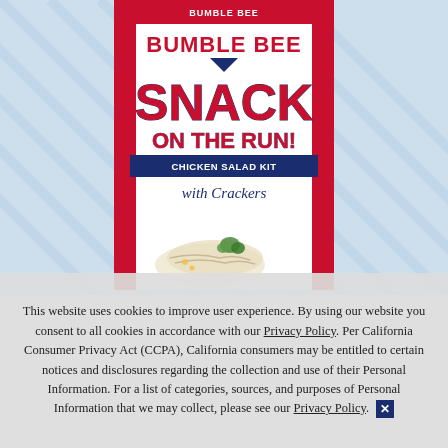[Figure (photo): Bumble Bee Snack on the Run! Chicken Salad Kit with Crackers product box on a light blue diagonal stripe background. The box is white with red side panels and red/navy blue text. The box shows the Bumble Bee brand name at top, then SNACK in large red letters, ON THE RUN! below, a navy banner reading CHICKEN SALAD KIT, italic text reading 'with Crackers', and a photo of chicken salad with a cracker and parsley garnish at the bottom.]
This website uses cookies to improve user experience. By using our website you consent to all cookies in accordance with our Privacy Policy. Per California Consumer Privacy Act (CCPA), California consumers may be entitled to certain notices and disclosures regarding the collection and use of their Personal Information. For a list of categories, sources, and purposes of Personal Information that we may collect, please see our Privacy Policy. ✕